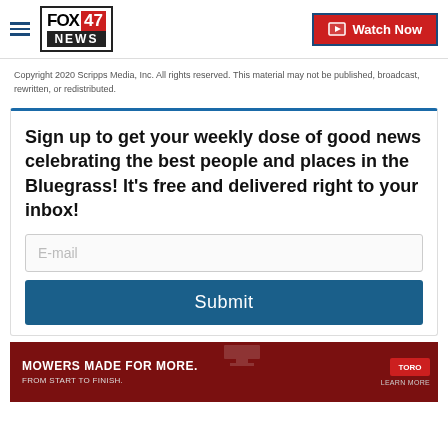FOX47 NEWS — Watch Now
Copyright 2020 Scripps Media, Inc. All rights reserved. This material may not be published, broadcast, rewritten, or redistributed.
Sign up to get your weekly dose of good news celebrating the best people and places in the Bluegrass! It's free and delivered right to your inbox!
[Figure (screenshot): Advertisement banner: MOWERS MADE FOR MORE. FROM START TO FINISH. Toro brand logo and LEARN MORE.]